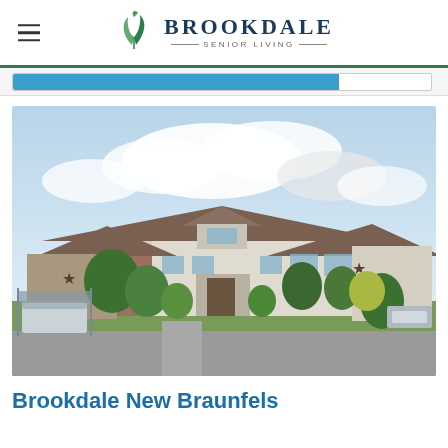Brookdale Senior Living
[Figure (photo): Exterior photograph of Brookdale New Braunfels senior living facility. A large single-story suburban residential-style building with tan/cream brick and brown shingle roofing, green trees and landscaping in front, a covered bus/vehicle on the left, a central entrance walkway, and a partly cloudy blue sky above.]
Brookdale New Braunfels